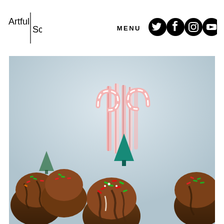[Figure (logo): Artful Scribe logo with text split by vertical line]
MENU
[Figure (illustration): Social media icons: Twitter, Facebook, Instagram, YouTube]
[Figure (photo): Christmas-themed chocolate treats topped with red and green sprinkles, decorated with candy canes, a small teal Christmas tree, and peppermint sticks in the background on a light blue backdrop]